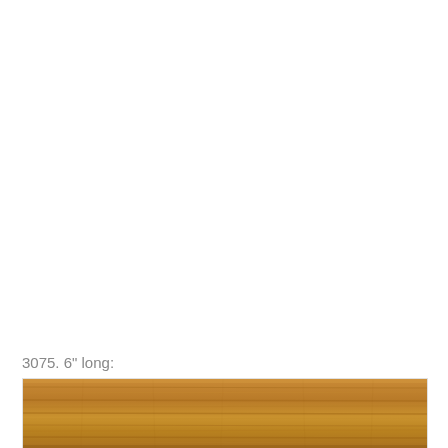3075. 6" long:
[Figure (photo): A horizontal strip showing a close-up photograph of a wooden board or plank approximately 6 inches long, with a warm brown/golden oak grain texture visible.]